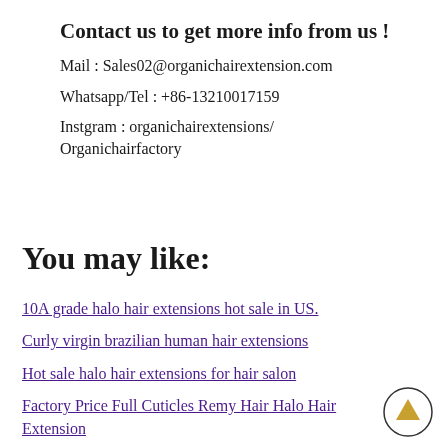Contact us to get more info from us !
Mail : Sales02@organichairextension.com
Whatsapp/Tel : +86-13210017159
Instgram : organichairextensions/
Organichairfactory
You may like:
10A grade halo hair extensions hot sale in US.
Curly virgin brazilian human hair extensions
Hot sale halo hair extensions for hair salon
Factory Price Full Cuticles Remy Hair Halo Hair Extension
Wholesale 18 inch hair extensions saga remy hair